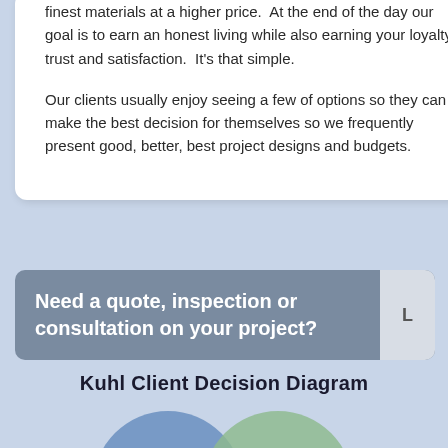finest materials at a higher price.  At the end of the day our goal is to earn an honest living while also earning your loyalty, trust and satisfaction.  It's that simple.
Our clients usually enjoy seeing a few of options so they can make the best decision for themselves so we frequently present good, better, best project designs and budgets.
Need a quote, inspection or consultation on your project?
Kuhl Client Decision Diagram
[Figure (infographic): Venn diagram showing two overlapping circles - a blue circle on the left and a green circle on the right, partially cropped at bottom of page.]